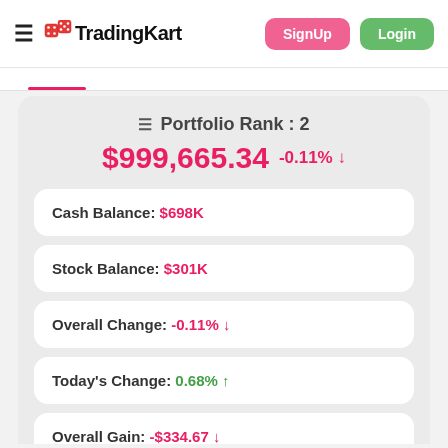TradingKart — SignUp | Login
Portfolio Rank : 2
$999,665.34  -0.11% ↓
Cash Balance: $698K
Stock Balance: $301K
Overall Change: -0.11% ↓
Today's Change: 0.68% ↑
Overall Gain: -$334.67 ↓
Today's Gain: $2,048.17 ↑